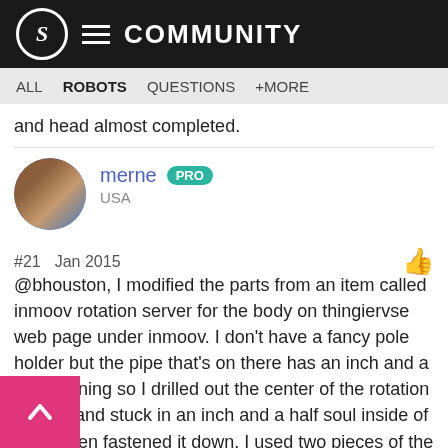S COMMUNITY
ALL  ROBOTS  QUESTIONS  +MORE
and head almost completed.
merne PRO
USA
#21  Jan 2015
@bhouston, I modified the parts from an item called inmoov rotation server for the body on thingiervse web page under inmoov. I don't have a fancy pole holder but the pipe that's on there has an inch and a half opening so I drilled out the center of the rotation 3d part and stuck in an inch and a half soul inside of it and then fastened it down. I used two pieces of the higharmsidev1 file then mounted on the pole. here is a picture of it, its not pretty but it works I am making it a little different soon.